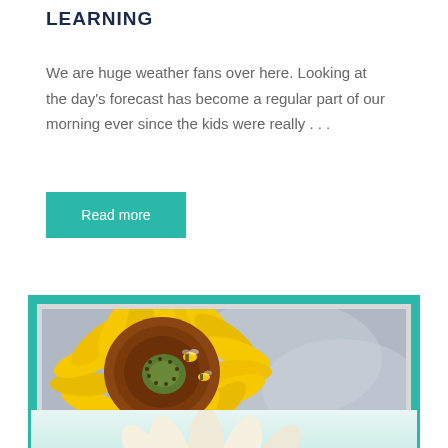LEARNING
We are huge weather fans over here. Looking at the day's forecast has become a regular part of our morning ever since the kids were really . . .
Read more
[Figure (photo): Close-up photograph of a sunflower with yellow petals and a brown-green center seed head, with a bee visible on the center, set against a light grey textured background. The image is framed with a teal/turquoise border.]
[Figure (photo): Partial view of a white daisy or similar flower, partially cut off at the bottom of the page, against a light teal background.]